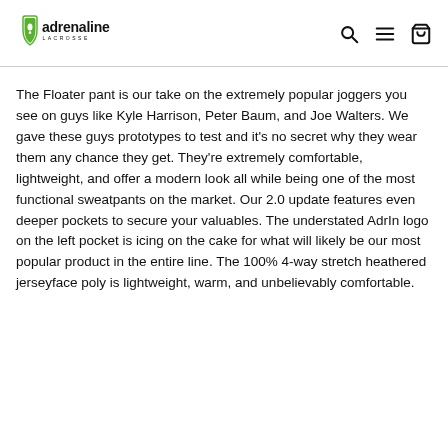adrenaline lacrosse
The Floater pant is our take on the extremely popular joggers you see on guys like Kyle Harrison, Peter Baum, and Joe Walters. We gave these guys prototypes to test and it's no secret why they wear them any chance they get. They're extremely comfortable, lightweight, and offer a modern look all while being one of the most functional sweatpants on the market. Our 2.0 update features even deeper pockets to secure your valuables. The understated AdrIn logo on the left pocket is icing on the cake for what will likely be our most popular product in the entire line. The 100% 4-way stretch heathered jerseyface poly is lightweight, warm, and unbelievably comfortable.